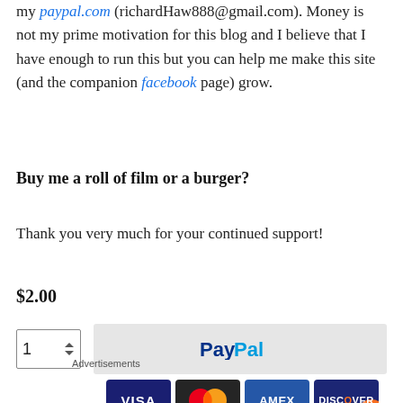my paypal.com (richardHaw888@gmail.com). Money is not my prime motivation for this blog and I believe that I have enough to run this but you can help me make this site (and the companion facebook page) grow.
Buy me a roll of film or a burger?
Thank you very much for your continued support!
$2.00
[Figure (screenshot): Quantity input box showing value 1 with up/down arrows, and a PayPal checkout button on a grey background, with VISA, Mastercard, AMEX, and Discover card icons below.]
Advertisements